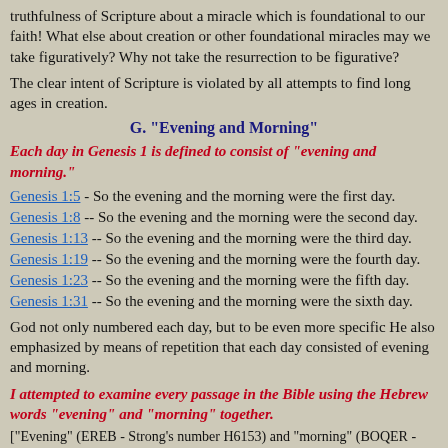truthfulness of Scripture about a miracle which is foundational to our faith! What else about creation or other foundational miracles may we take figuratively? Why not take the resurrection to be figurative?
The clear intent of Scripture is violated by all attempts to find long ages in creation.
G. "Evening and Morning"
Each day in Genesis 1 is defined to consist of "evening and morning."
Genesis 1:5 - So the evening and the morning were the first day.
Genesis 1:8 -- So the evening and the morning were the second day.
Genesis 1:13 -- So the evening and the morning were the third day.
Genesis 1:19 -- So the evening and the morning were the fourth day.
Genesis 1:23 -- So the evening and the morning were the fifth day.
Genesis 1:31 -- So the evening and the morning were the sixth day.
God not only numbered each day, but to be even more specific He also emphasized by means of repetition that each day consisted of evening and morning.
I attempted to examine every passage in the Bible using the Hebrew words "evening" and "morning" together.
["Evening" (EREB - Strong's number H6153) and "morning" (BOQER - H1242)]